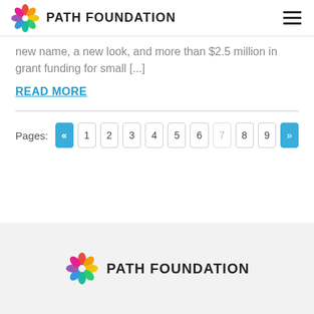PATH FOUNDATION
new name, a new look, and more than $2.5 million in grant funding for small [...]
READ MORE
Pages: « 1 2 3 4 5 6 7 8 9 »
[Figure (logo): Path Foundation logo with colorful pinwheel and text PATH FOUNDATION in footer]